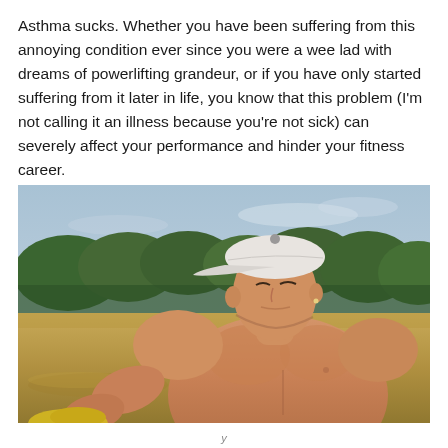Asthma sucks. Whether you have been suffering from this annoying condition ever since you were a wee lad with dreams of powerlifting grandeur, or if you have only started suffering from it later in life, you know that this problem (I'm not calling it an illness because you're not sick) can severely affect your performance and hinder your fitness career.
[Figure (photo): A muscular shirtless man wearing a white backwards baseball cap, sitting outdoors in a field with trees and sky in the background, holding something yellow (possibly a banana or glove). He has a very athletic physique.]